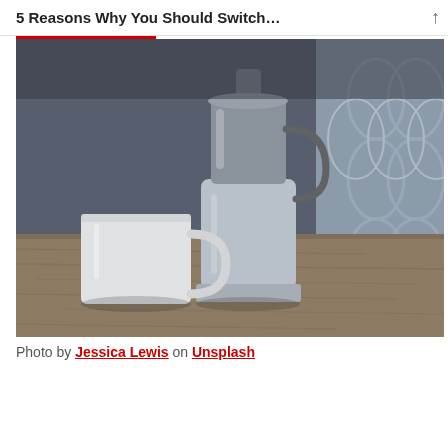5 Reasons Why You Should Switch…
[Figure (photo): A moka pot (stovetop espresso maker) and a small white mug placed on a rustic wooden surface, with a blurred decorative background. The photo is in muted, desaturated tones.]
Photo by Jessica Lewis on Unsplash